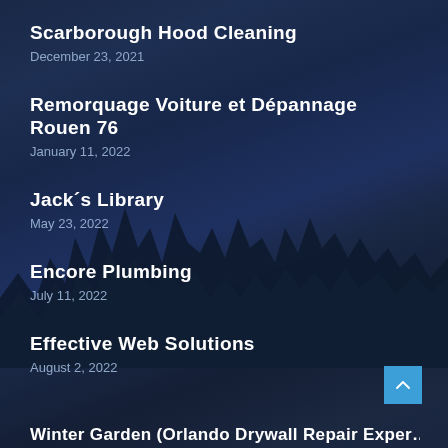Scarborough Hood Cleaning
December 23, 2021
Remorquage Voiture et Dépannage Rouen 76
January 11, 2022
Jack´s Library
May 23, 2022
Encore Plumbing
July 11, 2022
Effective Web Solutions
August 2, 2022
Winter Garden (Orlando Drywall Repair Experts…